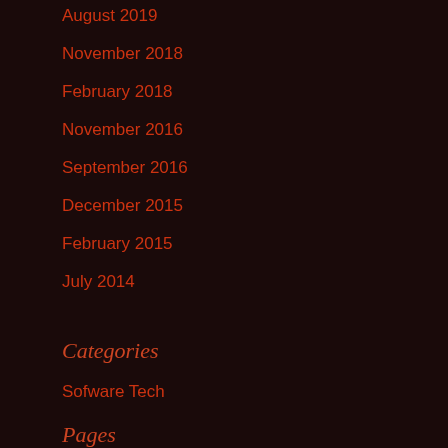August 2019
November 2018
February 2018
November 2016
September 2016
December 2015
February 2015
July 2014
Categories
Sofware Tech
Pages